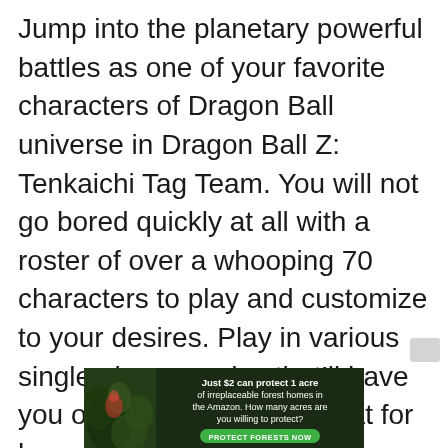Jump into the planetary powerful battles as one of your favorite characters of Dragon Ball universe in Dragon Ball Z: Tenkaichi Tag Team. You will not go bored quickly at all with a roster of over a whooping 70 characters to play and customize to your desires. Play in various single player modes that'll have you on the edge of your seat for hours and hours. The Dragon Walk Mode will put you through the entire Dragon Ball Z saga. Relive the most famous battles from the anime and new fight scenes in increasing difficulty in Battle 100 Mode. Once your ready for the real competition, head over to multiplayer
[Figure (infographic): Advertisement banner: dark forest background on left with plant imagery, text reads 'Just $2 can protect 1 acre of irreplaceable forest homes in the Amazon. How many acres are you willing to protect?' with a green 'PROTECT FORESTS NOW' button]